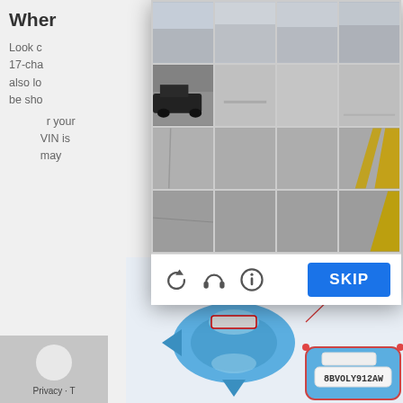Wher...
Look c... your 17-cha... VIN is also lo... may be sho...
[Figure (screenshot): Google reCAPTCHA image grid showing a 4x4 grid of street-view photos of a parking lot. Images show sky, a dark car in a parking lot, pavement with yellow road markings. Below the grid are three control icons (refresh, headphones, info) and a blue SKIP button.]
[Figure (illustration): Top-down car diagram illustration showing a blue car from above with arrows indicating VIN location on dashboard, with a zoomed inset showing the VIN plate reading 8BVOLY912AW on the rear of the car.]
8BVOLY912AW
[Figure (logo): Google logo/privacy icon in bottom left corner with 'Privacy - T...' text]